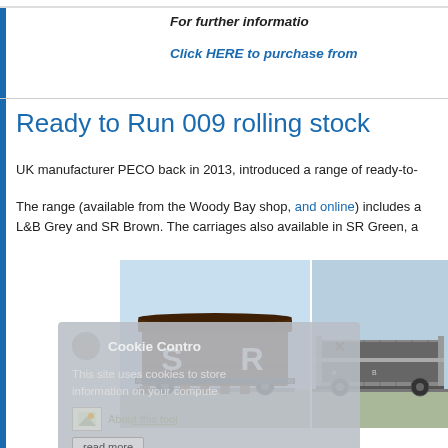For further informatio
Click HERE to purchase from
Ready to Run 009 rolling stock
UK manufacturer PECO back in 2013, introduced a range of ready-to-
The range (available from the Woody Bay shop, and online) includes a L&B Grey and SR Brown. The carriages also available in SR Green, a
[Figure (photo): SR Brown covered van model on light blue background]
[Figure (photo): Grey open wagon model on light blue background]
Cookie Control - This site uses cookies to store information on your computer. About this tool. read more